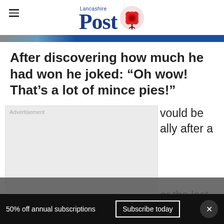Lancashire Post
[Figure (logo): Lancashire Post logo with red rose and blue bold serif text]
After discovering how much he had won he joked: “Oh wow! That’s a lot of mince pies!”
[Figure (other): Advertisement placeholder box]
vould be ally after a
er the last 10 a nicer
50% off annual subscriptions
Subscribe today